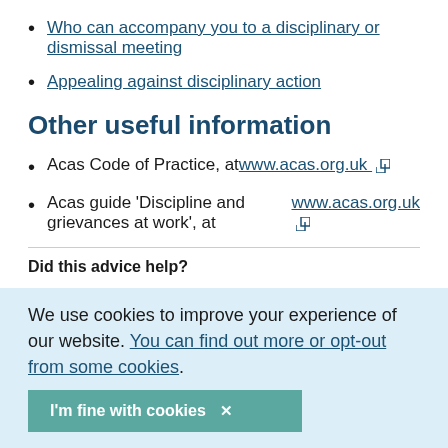Who can accompany you to a disciplinary or dismissal meeting
Appealing against disciplinary action
Other useful information
Acas Code of Practice, at www.acas.org.uk
Acas guide 'Discipline and grievances at work', at www.acas.org.uk
Did this advice help?
We use cookies to improve your experience of our website. You can find out more or opt-out from some cookies.
I'm fine with cookies ×